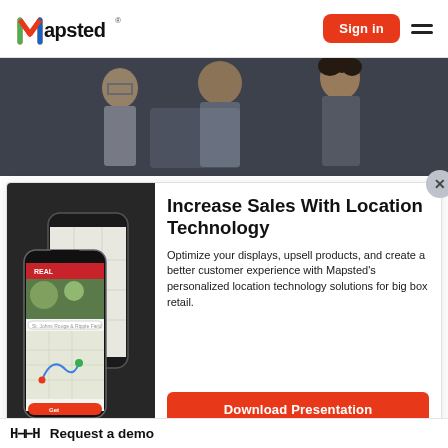[Figure (logo): Mapsted logo with colorful M lettermark and registered trademark symbol]
[Figure (screenshot): Sign in button (red/orange rounded rectangle)]
[Figure (illustration): Hamburger menu icon (two horizontal lines)]
[Figure (photo): Hero photo of people collaborating, looking at a screen in dim lighting]
[Figure (screenshot): Close button (X) circle in gray]
[Figure (photo): Two smartphones showing Mapsted location app with map and retail interface on dark background]
Increase Sales With Location Technology
Optimize your displays, upsell products, and create a better customer experience with Mapsted's personalized location technology solutions for big box retail.
[Figure (screenshot): Download Presentation button (orange/red)]
Request a demo